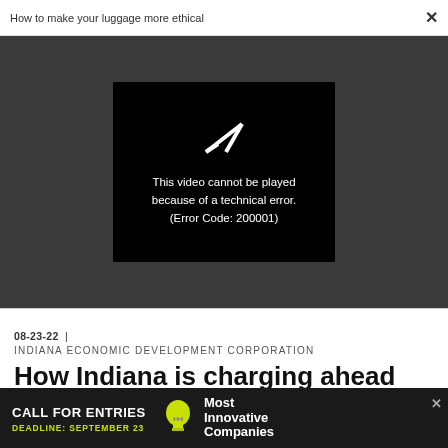How to make your luggage more ethical  ×
[Figure (screenshot): Video player showing error: 'This video cannot be played because of a technical error. (Error Code: 200001)']
08-23-22 | INDIANA ECONOMIC DEVELOPMENT CORPORATION
How Indiana is charging ahead
[Figure (infographic): Advertisement banner: CALL FOR ENTRIES, DEADLINE: SEPTEMBER 23, lightbulb icon, Most Innovative Companies]